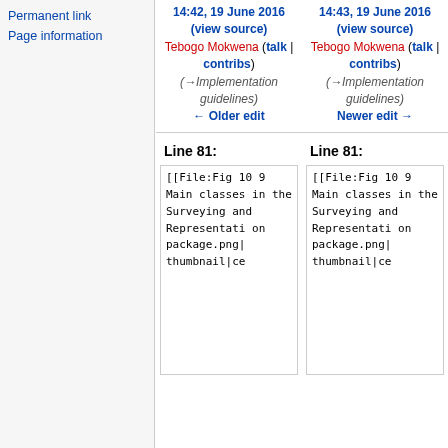Permanent link
Page information
14:42, 19 June 2016 (view source)
Tebogo Mokwena (talk | contribs)
(→Implementation guidelines)
← Older edit
14:43, 19 June 2016 (view source)
Tebogo Mokwena (talk | contribs)
(→Implementation guidelines)
Newer edit →
Line 81:
Line 81:
[[File:Fig 10 9 Main classes in the Surveying and Representation package.png|thumbnail|ce
[[File:Fig 10 9 Main classes in the Surveying and Representation package.png|thumbnail|ce